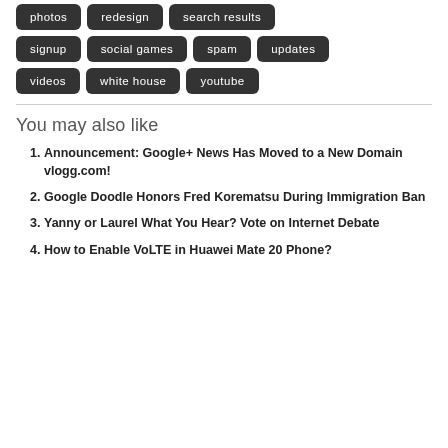photos
redesign
search results
signup
social games
spam
updates
videos
white house
youtube
You may also like
Announcement: Google+ News Has Moved to a New Domain vlogg.com!
Google Doodle Honors Fred Korematsu During Immigration Ban
Yanny or Laurel What You Hear? Vote on Internet Debate
How to Enable VoLTE in Huawei Mate 20 Phone?